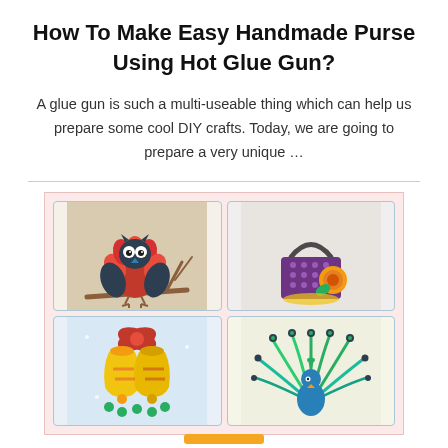How To Make Easy Handmade Purse Using Hot Glue Gun?
A glue gun is such a multi-useable thing which can help us prepare some cool DIY crafts. Today, we are going to prepare a very unique …
[Figure (photo): 2x2 grid collage of DIY craft items made with hot glue gun: top-left shows an owl figurine made of red petals sitting on a branch, top-right shows a decorative purple basket/purse with an orange flower, bottom-left shows Christmas bells with red bow decoration, bottom-right shows a peacock made of green quilling paper art.]